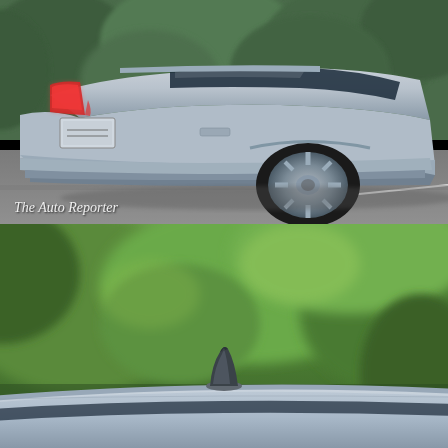[Figure (photo): Rear three-quarter view of a silver Honda sedan (likely Civic or Accord) parked on a road, showing the rear end, tail lights, trunk, and rear wheel. Trees are visible in the background. Watermark reads 'The Auto Reporter' in italic serif font at the bottom-left.]
[Figure (photo): Close-up view of a silver car roof with a shark-fin antenna, photographed against a blurred green forest background with trees and foliage visible.]